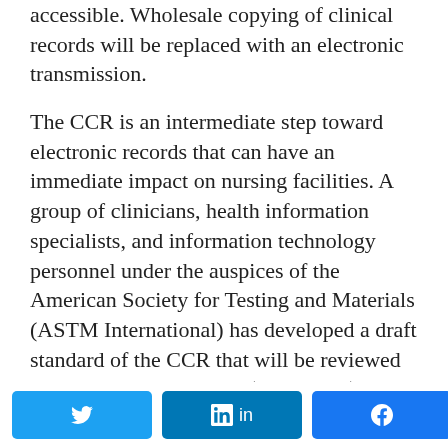accessible. Wholesale copying of clinical records will be replaced with an electronic transmission.
The CCR is an intermediate step toward electronic records that can have an immediate impact on nursing facilities. A group of clinicians, health information specialists, and information technology personnel under the auspices of the American Society for Testing and Materials (ASTM International) has developed a draft standard of the CCR that will be reviewed and voted on this month (September). Interested professionals can participate by contacting ASTM International (see sidebar). The CCR could be implemented in stages- first on paper and then electronically in local
[Figure (other): Social sharing bar with Twitter, LinkedIn, and Facebook buttons, and a share count showing 0 SHARES]